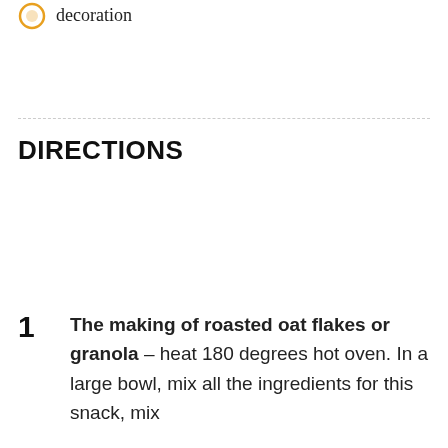Strawberries, mini fruits for decoration
DIRECTIONS
1 The making of roasted oat flakes or granola – heat 180 degrees hot oven. In a large bowl, mix all the ingredients for this snack, mix